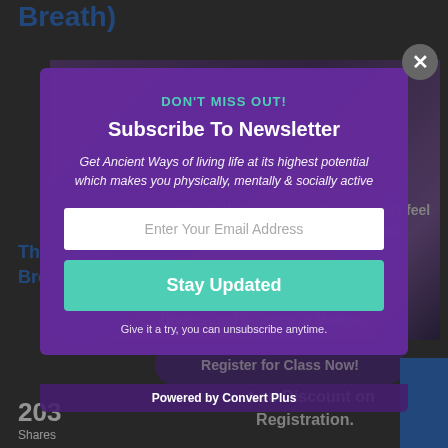Breath)
[Figure (screenshot): Background of a webpage showing yoga/mudra class content with a purple-toned image, partially visible article text, and share count]
[Figure (screenshot): Modal popup overlay for newsletter subscription with purple background]
DON'T MISS OUT!
Subscribe To Newsletter
Get Ancient Ways of living life at its highest potential which makes you physically, mentally & socially active
Enter Your Email Address
Stay Updated
Give it a try, you can unsubscribe anytime.
Powered by Convert Plus